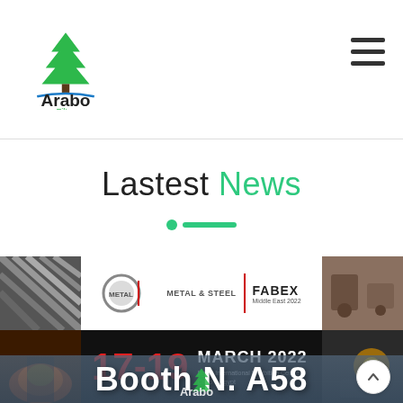[Figure (logo): Arabo Filters logo with green cedar tree and blue water line]
Lastest News
[Figure (infographic): Banner image for Metal & Steel / FABEX Middle East 2022, 17-19 March 2022, Egypt International Exhibition Centre, Cairo - Egypt, Booth N. A58]